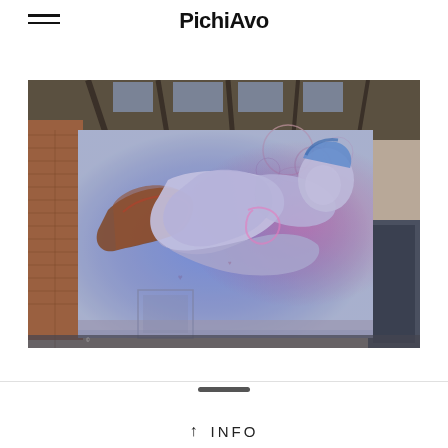PichiAvo
[Figure (photo): Large mural artwork photographed inside an industrial warehouse space with brick walls. The mural depicts a reclining classical figure rendered in a graffiti/street art style with blue, purple, red, and white colors. The figure appears to be inspired by classical sculpture, with colorful tattoo-like patterns overlaid. The warehouse has wooden beam ceilings and industrial elements.]
↑  INFO